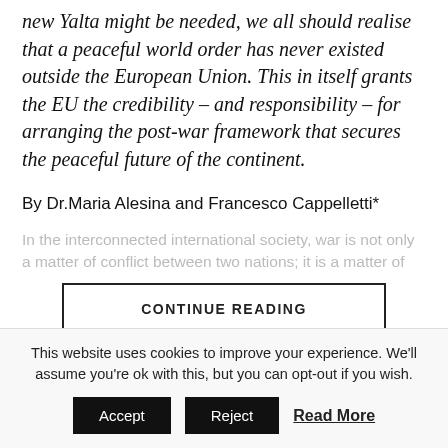new Yalta might be needed, we all should realise that a peaceful world order has never existed outside the European Union. This in itself grants the EU the credibility – and responsibility – for arranging the post-war framework that secures the peaceful future of the continent.
By Dr.Maria Alesina and Francesco Cappelletti*
In the interconnected international society, war is not only a matter of conflict between two nations; it is a matter of
CONTINUE READING
This website uses cookies to improve your experience. We'll assume you're ok with this, but you can opt-out if you wish.
Accept
Reject
Read More